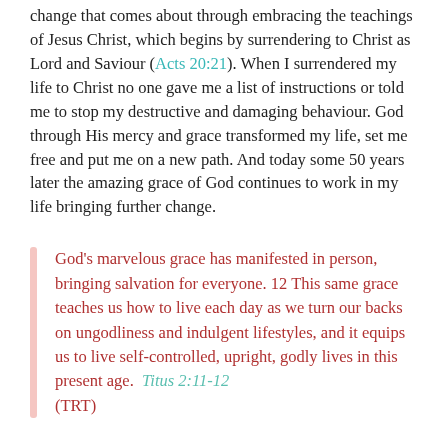change that comes about through embracing the teachings of Jesus Christ, which begins by surrendering to Christ as Lord and Saviour (Acts 20:21). When I surrendered my life to Christ no one gave me a list of instructions or told me to stop my destructive and damaging behaviour. God through His mercy and grace transformed my life, set me free and put me on a new path. And today some 50 years later the amazing grace of God continues to work in my life bringing further change.
God's marvelous grace has manifested in person, bringing salvation for everyone. 12 This same grace teaches us how to live each day as we turn our backs on ungodliness and indulgent lifestyles, and it equips us to live self-controlled, upright, godly lives in this present age. Titus 2:11-12 (TRT)